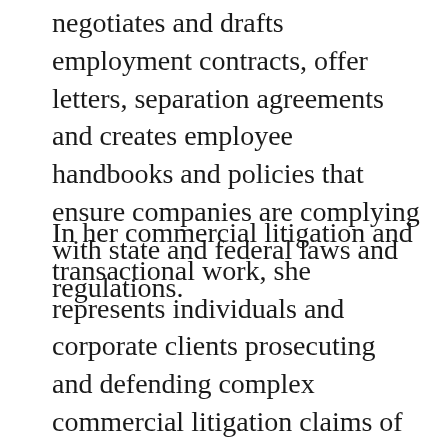negotiates and drafts employment contracts, offer letters, separation agreements and creates employee handbooks and policies that ensure companies are complying with state and federal laws and regulations.
In her commercial litigation and transactional work, she represents individuals and corporate clients prosecuting and defending complex commercial litigation claims of promissory estoppel, fraud/consumer fraud act, general and vicarious liability, breach of contract, negligence, and other tort claims. She also negotiates, reviews, and drafts various business contracts including commercial lease agreements, license agreements...